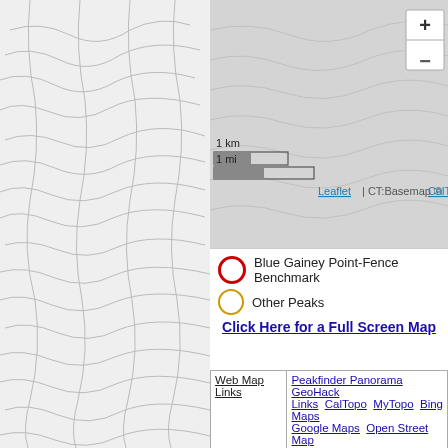[Figure (map): Topographic map showing contour lines, left half with white/light gray background and contour lines]
[Figure (map): Topographic map right portion, gray background, with zoom +/- controls, scale bar (1 km / 1 mi), and Leaflet/CalTopo attribution]
Blue Gainey Point-Fence Benchmark
Other Peaks
Click Here for a Full Screen Map
|  |  |
| --- | --- |
| Web Map Links | Peakfinder Panorama
GeoHack
Links  CalTopo  MyTopo  Bing Maps
Google Maps  Open Street Map |
| Prominence | Key Col Page (Detailed prominence information)
Clean Prominence: 31 ft/10 m
Optimistic Prominence: 51 ft/16 m
Key Col: 2520 ft/768 m |
| Isolation | Isolation Page (Detailed isolation information)
Distance: 8.62 mi/13.87 km
Isolation Limit Point: 32.3475, -100.3383
Nearest Higher Neighbor in the PBC database: |